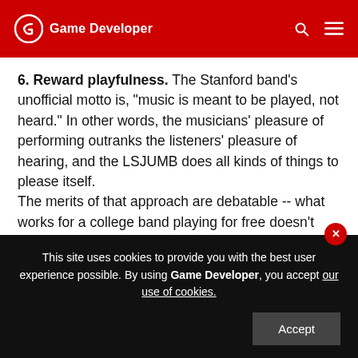Game Developer
6. Reward playfulness. The Stanford band's unofficial motto is, "music is meant to be played, not heard." In other words, the musicians' pleasure of performing outranks the listeners' pleasure of hearing, and the LSJUMB does all kinds of things to please itself.

The merits of that approach are debatable -- what works for a college band playing for free doesn't work for professional band playing for money -- but it is absolutely true of video games. They're meant…
This site uses cookies to provide you with the best user experience possible. By using Game Developer, you accept our use of cookies.